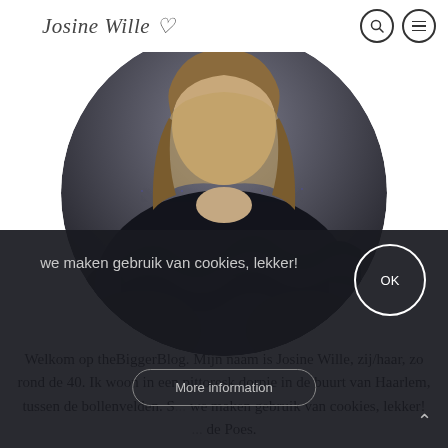Josine Wille ♡
[Figure (photo): Circular cropped photo of a person wearing a dark navy/black knit sweater with ruffle detail at the collar/shoulders. The background is grey/concrete. Only the upper torso and partial head with blonde/brown hair visible.]
Welkom op theBiggerBlog. Mijn naam is Josine Wille, zij/haar, zo rond de 40. Ik woon in een pittoresk dorpje in de buurt van Haarlem, tussen de bollenvelden. S... we maken gebruik van cookies, lekker! ... de Poes.
we maken gebruik van cookies, lekker!
More information